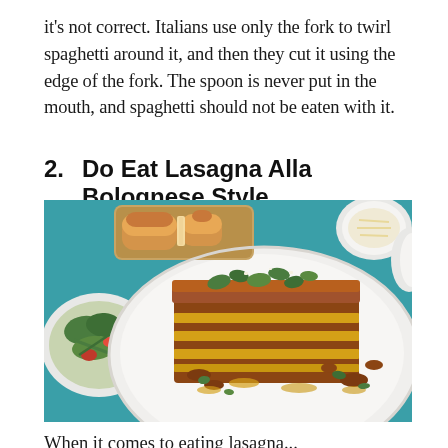it's not correct. Italians use only the fork to twirl spaghetti around it, and then they cut it using the edge of the fork. The spoon is never put in the mouth, and spaghetti should not be eaten with it.
2.   Do Eat Lasagna Alla Bolognese Style
[Figure (photo): A serving of lasagna alla bolognese on a white plate, garnished with fresh herbs and olive oil. In the background: a salad bowl on the left, sliced bread on a wooden board, and white bowls with grated cheese, all on a teal tablecloth.]
When it comes to eating lasagna...